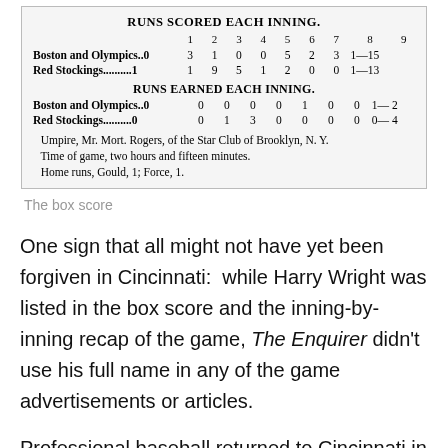[Figure (table-as-image): Newspaper box score showing 'RUNS SCORED EACH INNING' and 'RUNS EARNED EACH INNING' for Boston and Olympics vs Red Stockings, with umpire, time of game, and home run notes.]
The box score
One sign that all might not have yet been forgiven in Cincinnati:  while Harry Wright was listed in the box score and the inning-by-inning recap of the game, The Enquirer didn't use his full name in any of the game advertisements or articles.
Professional baseball returned to Cincinnati in 1876 when the reds became an inaugural member of the National